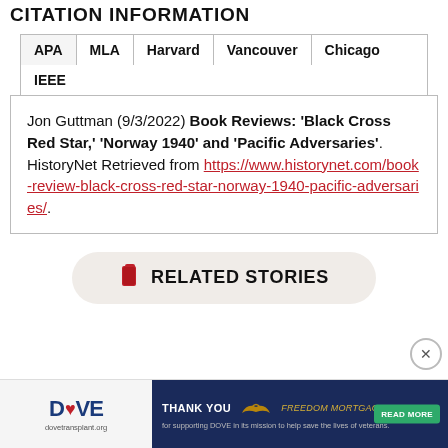CITATION INFORMATION
| APA | MLA | Harvard | Vancouver | Chicago | IEEE |
| --- | --- | --- | --- | --- | --- |
Jon Guttman (9/3/2022) Book Reviews: 'Black Cross Red Star,' 'Norway 1940' and 'Pacific Adversaries'. HistoryNet Retrieved from https://www.historynet.com/book-review-black-cross-red-star-norway-1940-pacific-adversaries/.
RELATED STORIES
[Figure (infographic): Advertisement banner for DOVE with Freedom Mortgage sponsorship. Includes READ MORE button.]